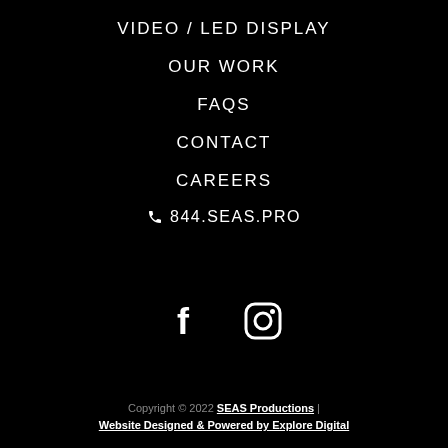VIDEO / LED DISPLAY
OUR WORK
FAQS
CONTACT
CAREERS
📞 844.SEAS.PRO
[Figure (other): Facebook and Instagram social media icons in white on black background]
Copyright © 2022 SEAS Productions | Website Designed & Powered by Explore Digital